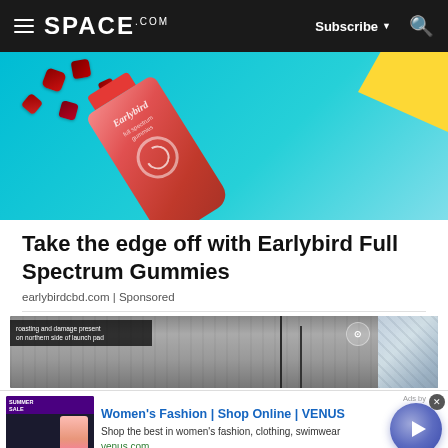SPACE.com | Subscribe | Search
[Figure (photo): Earlybird CBD gummies bottle on teal background with red gummy candies scattered around]
Take the edge off with Earlybird Full Spectrum Gummies
earlybirdcbd.com | Sponsored
[Figure (photo): Aerial satellite view of launch pad with text overlay reading 'roasting and damage present on northern side of launch pad']
Women's Fashion | Shop Online | VENUS
Shop the best in women's fashion, clothing, swimwear
venus.com